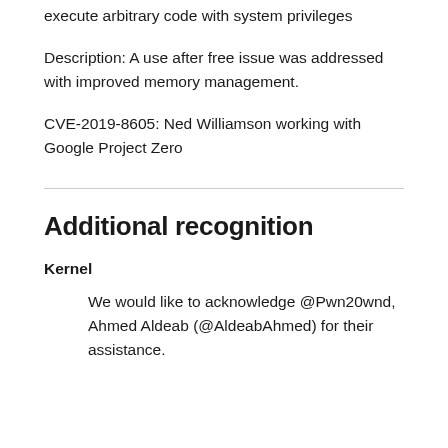execute arbitrary code with system privileges
Description: A use after free issue was addressed with improved memory management.
CVE-2019-8605: Ned Williamson working with Google Project Zero
Additional recognition
Kernel
We would like to acknowledge @Pwn20wnd, Ahmed Aldeab (@AldeabAhmed) for their assistance.